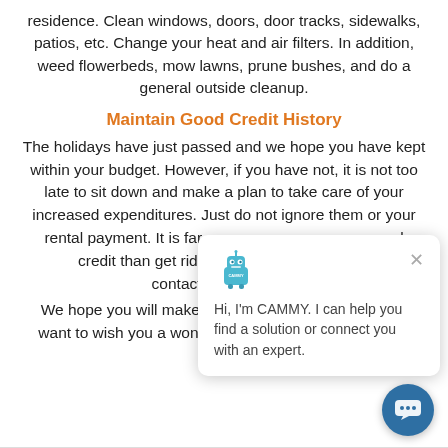residence. Clean windows, doors, door tracks, sidewalks, patios, etc. Change your heat and air filters. In addition, weed flowerbeds, mow lawns, prune bushes, and do a general outside cleanup.
Maintain Good Credit History
The holidays have just passed and we hope you have kept within your budget. However, if you have not, it is not too late to sit down and make a plan to take care of your increased expenditures. Just do not ignore them or your rental payment. It is far ... credit than get rid of b... contact us so we can a...
We hope you will make a... want to wish you a wonderful and successful New Year.
[Figure (screenshot): Chat popup with robot mascot CAMMY saying 'Hi, I'm CAMMY. I can help you find a solution or connect you with an expert.' with a close X button, and a circular chat button in the bottom right corner.]